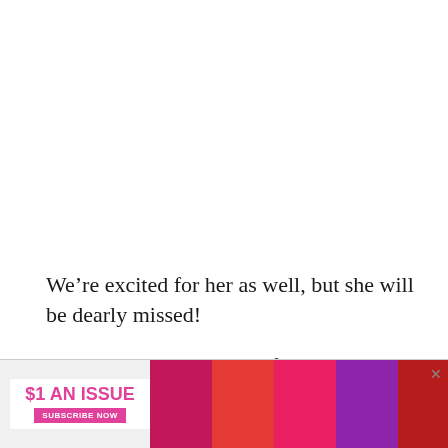We're excited for her as well, but she will be dearly missed!
Join our Facebook group for the latest news and updates on the Today show!
[Figure (infographic): Advertisement banner: '$1 AN ISSUE' with 'SUBSCRIBE NOW' button in pink, alongside magazine cover thumbnails]